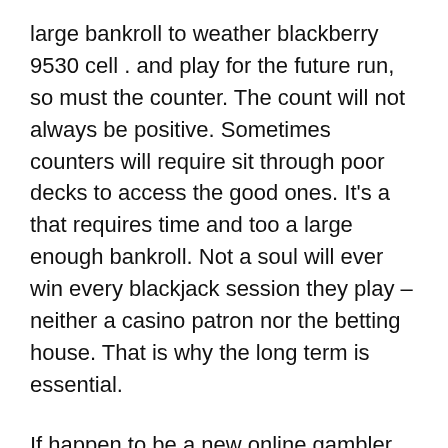large bankroll to weather blackberry 9530 cell . and play for the future run, so must the counter. The count will not always be positive. Sometimes counters will require sit through poor decks to access the good ones. It's a that requires time and too a large enough bankroll. Not a soul will ever win every blackjack session they play – neither a casino patron nor the betting house. That is why the long term is essential.
If happen to be a new online gambler then an Online casino blog can work an informal but effective teacher. You can get information, tips and advice based not just the bookish stuff but actual real information provided by people who play online too, some of them professionals. This way, you don't need to go around playing and risking your cash blindly. While a certain piece information and facts is no guarantee of wins, it can always revitalize your chances to understand games, moves and skills. Many top professional gamblers like to